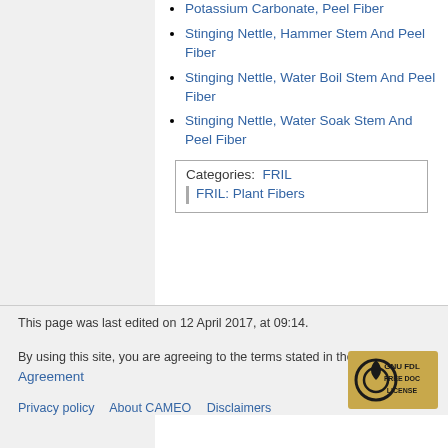Potassium Carbonate, Peel Fiber
Stinging Nettle, Hammer Stem And Peel Fiber
Stinging Nettle, Water Boil Stem And Peel Fiber
Stinging Nettle, Water Soak Stem And Peel Fiber
Categories:  FRIL
FRIL: Plant Fibers
This page was last edited on 12 April 2017, at 09:14.
By using this site, you are agreeing to the terms stated in the User Agreement
Privacy policy    About CAMEO    Disclaimers